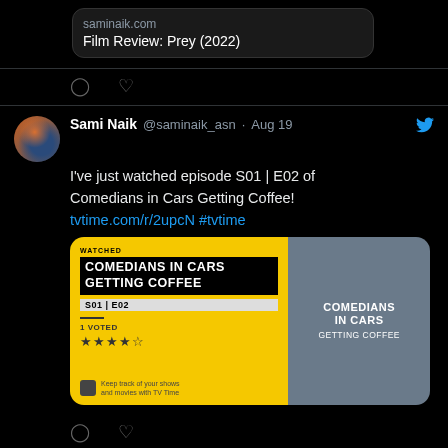[Figure (screenshot): Twitter/social media feed showing two tweets by Sami Naik. Top tweet shows a link card for 'Film Review: Prey (2022)' from saminaik.com. Bottom tweet reads: I've just watched episode S01 | E02 of Comedians in Cars Getting Coffee! tvtime.com/r/2upcN #tvtime with a TV Time app card showing 'COMEDIANS IN CARS GETTING COFFEE S01|E02, 1 VOTED, 4.5 stars'.]